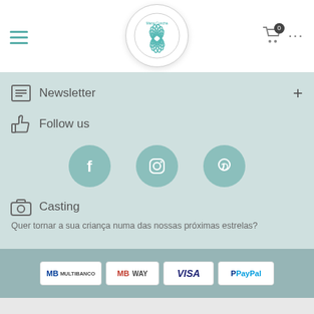[Figure (screenshot): Website header with hamburger menu, Maria Concha logo in circle, shopping cart with 0 badge, and dots menu]
Newsletter +
Follow us
[Figure (infographic): Three social media icons: Facebook, Instagram, Pinterest in teal circles]
Casting
Quer tornar a sua criança numa das nossas próximas estrelas?
[Figure (infographic): Payment logos: MB Multibanco, MB Way, VISA, PayPal]
Copyright © 2020 Maria Concha
Left column